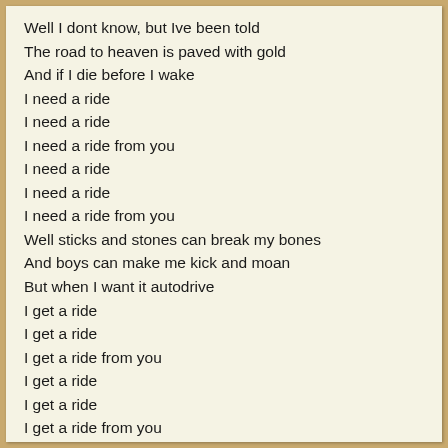Well I dont know, but Ive been told
The road to heaven is paved with gold
And if I die before I wake
I need a ride
I need a ride
I need a ride from you
I need a ride
I need a ride
I need a ride from you
Well sticks and stones can break my bones
And boys can make me kick and moan
But when I want it autodrive
I get a ride
I get a ride
I get a ride from you
I get a ride
I get a ride
I get a ride from you
Now I lay me down to sleep